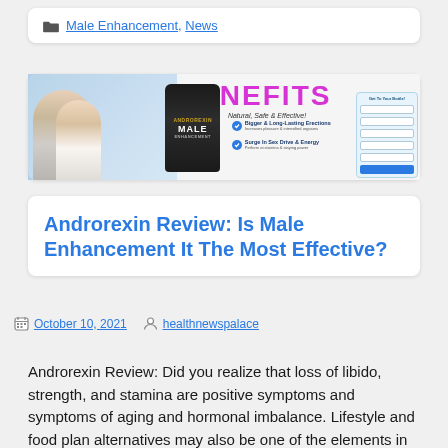Male Enhancement, News
[Figure (photo): Advertisement banner for male enhancement supplement showing a couple, a dark supplement bottle labeled MALE ENHANCEMENT, benefits text including 'Natural, Safe & Effective!', bullet points for 'Bigger & Long-Lasting Erections' and 'Surge In Sex Drive & Energy', and a sign-up form on the right side.]
Androrexin Review: Is Male Enhancement It The Most Effective?
October 10, 2021   healthnewspalace
Androrexin Review: Did you realize that loss of libido, strength, and stamina are positive symptoms and symptoms of aging and hormonal imbalance. Lifestyle and food plan alternatives may also be one of the elements in the back of your missing masculinity and depleting sexual urge for food.